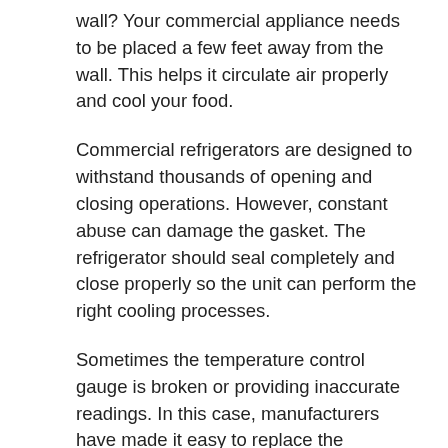wall? Your commercial appliance needs to be placed a few feet away from the wall. This helps it circulate air properly and cool your food.
Commercial refrigerators are designed to withstand thousands of opening and closing operations. However, constant abuse can damage the gasket. The refrigerator should seal completely and close properly so the unit can perform the right cooling processes.
Sometimes the temperature control gauge is broken or providing inaccurate readings. In this case, manufacturers have made it easy to replace the temperature gauge. The temperature gauge could also have a blocked vent. Use a thermometer to check the temperature to ensure that it's working.
Appliance failure is bound to happen. However, with a bit of DIY work or professional assistance, you can solve most commercial appliance repair problems quickly. By fixing your commercial appliances, your business can continue to